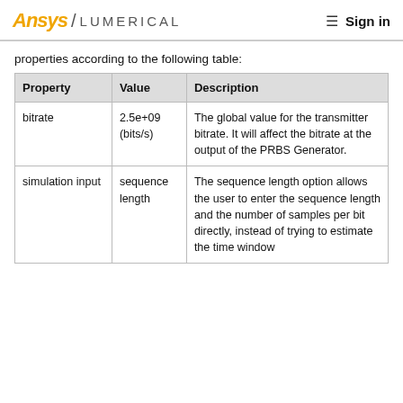Ansys / LUMERICAL   Sign in
properties according to the following table:
| Property | Value | Description |
| --- | --- | --- |
| bitrate | 2.5e+09 (bits/s) | The global value for the transmitter bitrate. It will affect the bitrate at the output of the PRBS Generator. |
| simulation input | sequence length | The sequence length option allows the user to enter the sequence length and the number of samples per bit directly, instead of trying to estimate the time window |